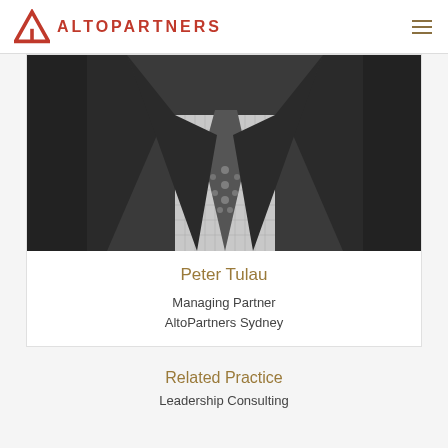ALTOPARTNERS
[Figure (photo): Black and white photograph showing a man in a dark suit with a patterned tie, cropped to show torso only.]
Peter Tulau
Managing Partner
AltoPartners Sydney
Related Practice
Leadership Consulting